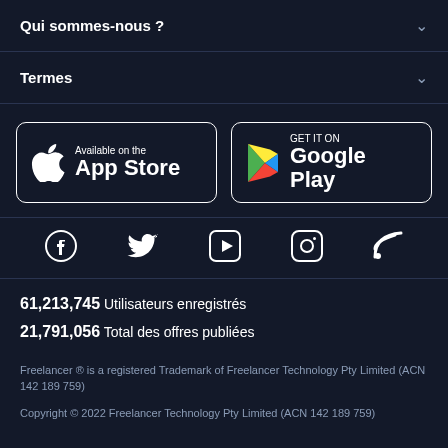Qui sommes-nous ?
Termes
[Figure (logo): App Store and Google Play store buttons]
[Figure (infographic): Social media icons: Facebook, Twitter, YouTube, Instagram, RSS]
61,213,745  Utilisateurs enregistrés
21,791,056  Total des offres publiées
Freelancer ® is a registered Trademark of Freelancer Technology Pty Limited (ACN 142 189 759)
Copyright © 2022 Freelancer Technology Pty Limited (ACN 142 189 759)